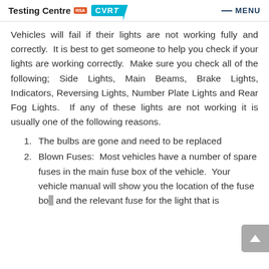Testing Centre RSA CVRT — MENU
Vehicles will fail if their lights are not working fully and correctly.  It is best to get someone to help you check if your lights are working correctly.  Make sure you check all of the following; Side Lights, Main Beams, Brake Lights, Indicators, Reversing Lights, Number Plate Lights and Rear Fog Lights.  If any of these lights are not working it is usually one of the following reasons.
The bulbs are gone and need to be replaced
Blown Fuses:  Most vehicles have a number of spare fuses in the main fuse box of the vehicle.  Your vehicle manual will show you the location of the fuse box and the relevant fuse for the light that is